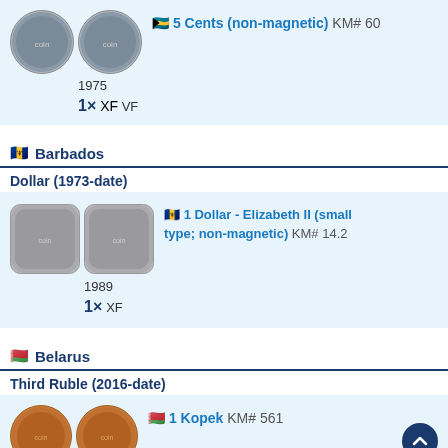[Figure (photo): Two coin images for Bahamas 5 Cents (non-magnetic) KM# 60]
🇧🇸 5 Cents (non-magnetic) KM# 60
1975
1× VF
🇧🇧 Barbados
Dollar (1973-date)
[Figure (photo): Two coin images for Barbados 1 Dollar - Elizabeth II (small type; non-magnetic) KM# 14.2]
🇧🇧 1 Dollar - Elizabeth II (small type; non-magnetic) KM# 14.2
1989
1× XF
🇧🇾 Belarus
Third Ruble (2016-date)
[Figure (photo): Two coin images for Belarus 1 Kopek KM# 561]
🇧🇾 1 Kopek KM# 561